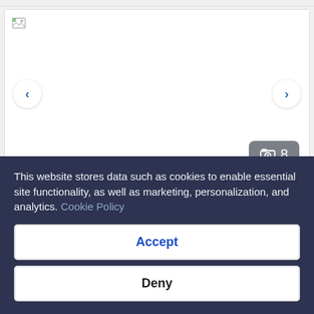[Figure (screenshot): Hotel room image carousel showing a broken/loading image placeholder with left and right navigation arrows and a photo count badge showing '8']
Triple Room, 3 Single Beds
This website stores data such as cookies to enable essential site functionality, as well as marketing, personalization, and analytics. Cookie Policy
Accept
Deny